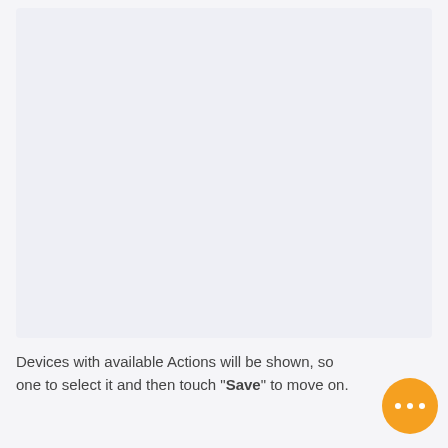[Figure (screenshot): A light grey/lavender UI panel or device screen area — blank content area, likely a mobile app interface screenshot]
Devices with available Actions will be shown, so one to select it and then touch "Save" to move on.